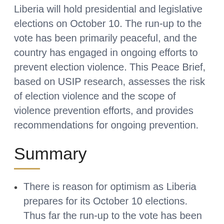Liberia will hold presidential and legislative elections on October 10. The run-up to the vote has been primarily peaceful, and the country has engaged in ongoing efforts to prevent election violence. This Peace Brief, based on USIP research, assesses the risk of election violence and the scope of violence prevention efforts, and provides recommendations for ongoing prevention.
Summary
There is reason for optimism as Liberia prepares for its October 10 elections. Thus far the run-up to the vote has been calm and peaceful, with few instances of hate speech and property damage